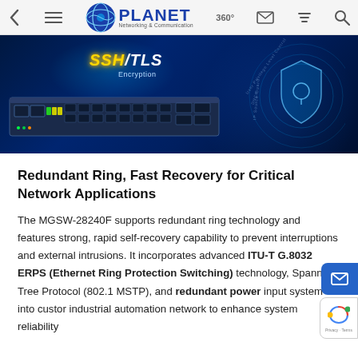PLANET Networking & Communication — navigation bar with back, menu, logo, 360°, mail, filter, search icons
[Figure (photo): Product banner image showing a PLANET industrial managed switch with SSH/TLS Encryption text in yellow/white, security shield icon, and network security feature labels on a dark blue background]
Redundant Ring, Fast Recovery for Critical Network Applications
The MGSW-28240F supports redundant ring technology and features strong, rapid self-recovery capability to prevent interruptions and external intrusions. It incorporates advanced ITU-T G.8032 ERPS (Ethernet Ring Protection Switching) technology, Spanning Tree Protocol (802.1 MSTP), and redundant power input system into custom industrial automation network to enhance system reliability